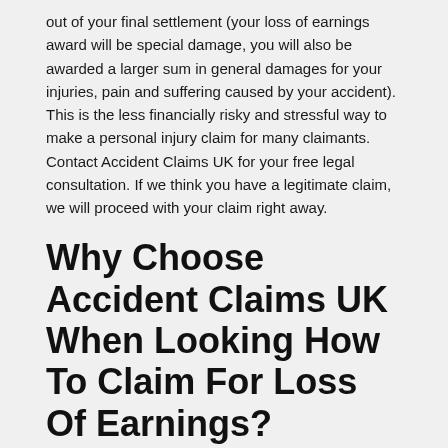out of your final settlement (your loss of earnings award will be special damage, you will also be awarded a larger sum in general damages for your injuries, pain and suffering caused by your accident). This is the less financially risky and stressful way to make a personal injury claim for many claimants. Contact Accident Claims UK for your free legal consultation. If we think you have a legitimate claim, we will proceed with your claim right away.
Why Choose Accident Claims UK When Looking How To Claim For Loss Of Earnings?
Accident Claims UK is the personal injury solicitors that have your back. Wherever you are based, we can provide you with a top personal injury solicitor who will relentlessly fight your claim to get you the maximum amount of compensation you are owed. Many of our solicitors have over three decades of experience winning compensation for victims who have suffered a loss of pay due to their